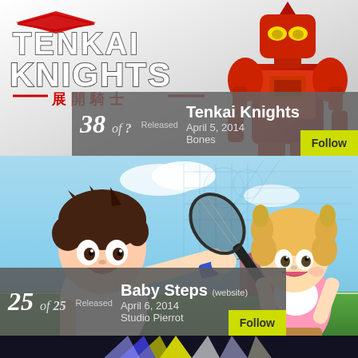[Figure (illustration): Tenkai Knights anime logo with red diamond shape and Japanese text, red mecha robot on right side]
38 of ? Released
Tenkai Knights
April 5, 2014
Bones
Follow
[Figure (illustration): Baby Steps anime artwork showing two characters playing tennis on a court with blue sky background]
25 of 25 Released
Baby Steps (website)
April 6, 2014
Studio Pierrot
Follow
[Figure (illustration): Partial view of another anime section at bottom of page with yellow/purple colors]